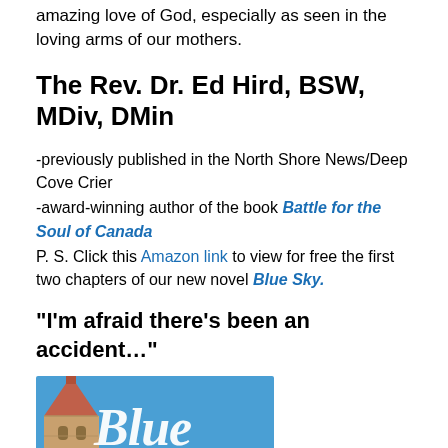amazing love of God, especially as seen in the loving arms of our mothers.
The Rev. Dr. Ed Hird, BSW, MDiv, DMin
-previously published in the North Shore News/Deep Cove Crier
-award-winning author of the book Battle for the Soul of Canada
P. S. Click this Amazon link to view for free the first two chapters of our new novel Blue Sky.
“I’m afraid there’s been an accident…”
[Figure (photo): Book cover image for 'Blue Sky' showing a church tower on the left and stylized cursive 'Blue' text over a blue sky background.]